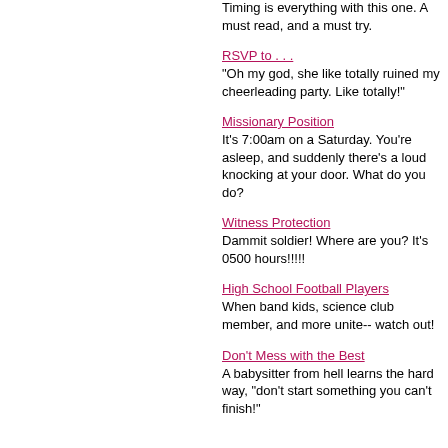Telephone Trick
Timing is everything with this one. A must read, and a must try.
RSVP to . . .
"Oh my god, she like totally ruined my cheerleading party. Like totally!"
Missionary Position
It's 7:00am on a Saturday. You're asleep, and suddenly there's a loud knocking at your door. What do you do?
Witness Protection
Dammit soldier! Where are you? It's 0500 hours!!!!!
High School Football Players
When band kids, science club member, and more unite-- watch out!
Don't Mess with the Best
A babysitter from hell learns the hard way, "don't start something you can't finish!"